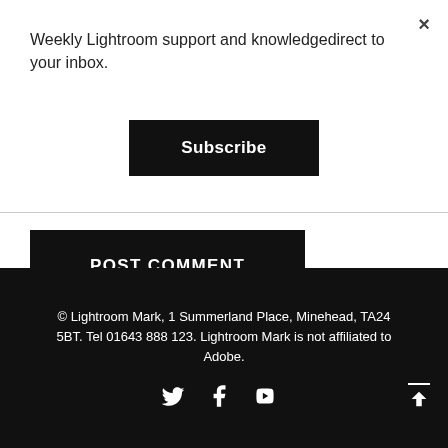Weekly Lightroom support and knowledgedirect to your inbox.
Subscribe
POST COMMENT
© Lightroom Mark, 1 Summerland Place, Minehead, TA24 5BT. Tel 01643 888 123. Lightroom Mark is not affiliated to Adobe.